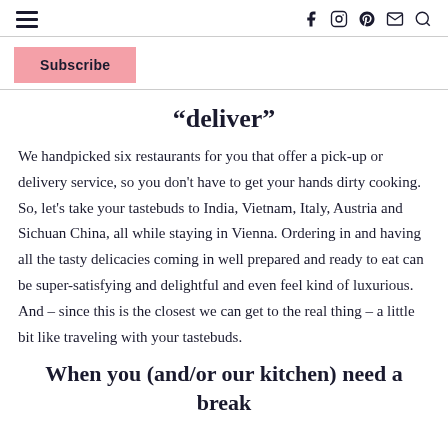≡  f  [instagram]  [pinterest]  [mail]  [search]
Subscribe
“deliver”
We handpicked six restaurants for you that offer a pick-up or delivery service, so you don't have to get your hands dirty cooking. So, let's take your tastebuds to India, Vietnam, Italy, Austria and Sichuan China, all while staying in Vienna. Ordering in and having all the tasty delicacies coming in well prepared and ready to eat can be super-satisfying and delightful and even feel kind of luxurious. And – since this is the closest we can get to the real thing – a little bit like traveling with your tastebuds.
When you (and/or our kitchen) need a break